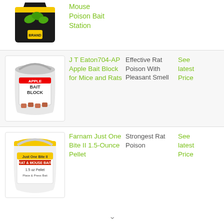[Figure (photo): Black bag product image - Mouse Poison Bait Station]
Mouse Poison Bait Station
[Figure (photo): White bucket - J T Eaton704-AP Apple Bait Block for Mice and Rats]
J T Eaton704-AP Apple Bait Block for Mice and Rats
Effective Rat Poison With Pleasant Smell
See latest Price
[Figure (photo): Yellow-topped white bucket - Farnam Just One Bite II 1.5-Ounce Pellet]
Farnam Just One Bite II 1.5-Ounce Pellet
Strongest Rat Poison
See latest Price